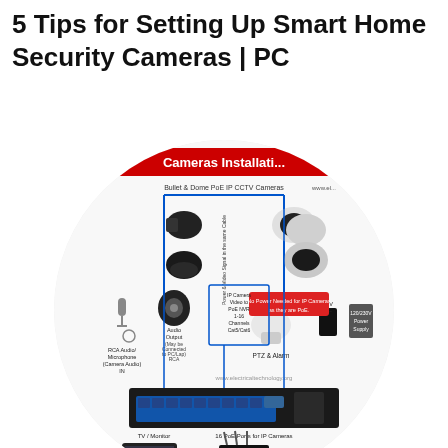5 Tips for Setting Up Smart Home Security Cameras | PC
[Figure (schematic): A circular infographic diagram showing IP CCTV camera installation setup including Bullet & Dome PoE IP CCTV Cameras, PTZ & Alarm camera, NVR with 16 PoE ports, Audio Output, RCA Audio/Microphone input, TV/Monitor, VGA, Laptop, HDMI, Router/WiFi, RJ45 connections, and 12V DC power supply with 120/230V power supply unit. Red label at top reads 'Cameras Installation'. Components are connected with blue lines showing data/power flow.]